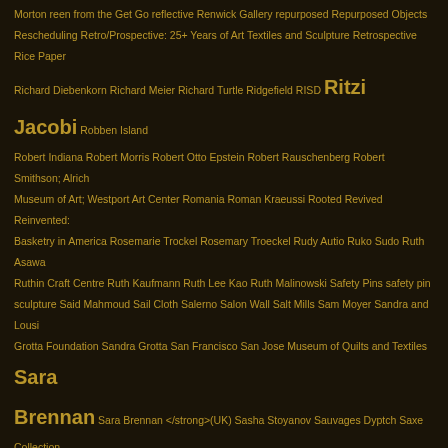Morton reen from the Get Go reflective Renwick Gallery repurposed Repurposed Objects Rescheduling Retro/Prospective: 25+ Years of Art Textiles and Sculpture Retrospective Rice Paper Richard Diebenkorn Richard Meier Richard Turtle Ridgefield RISD Ritzi Jacobi Robben Island Robert Indiana Robert Morris Robert Otto Epstein Robert Rauschenberg Robert Smithson; Alrich Museum of Art; Westport Art Center Romania Roman Kraeussi Rooted Revived Reinvented: Basketry in America Rosemarie Trockel Rosemary Troeckel Rudy Autio Ruko Sudo Ruth Asawa Ruthin Craft Centre Ruth Kaufmann Ruth Lee Kao Ruth Malinowski Safety Pins safety pin sculpture Said Mahmoud Sail Cloth Salerno Salon Wall Salt Mills Sam Moyer Sandra and Lousi Grotta Foundation Sandra Grotta San Francisco San Jose Museum of Quilts and Textiles Sara Brennan Sara Brennan </strong>(UK) Sasha Stoyanov Sauvages Dyptch Saxe Collection Scandinavian Tapestry Scissors Scotland Scott Rothstein Scottsdale Scottsdale public art project Scrape the Willow Until It Sings sculpture Sculpture Sculpture; Chicago; Mileanium Park; Grant Park; Anish Kapoor; Picaso; Macys; Seafair Sebastopol Center for the Arts; selvedge Selvedge Magazine Selvedge magazine. British Tapestry Selvedge magazine. Lia Cook September Sewing SFMOCA ShantaramShantaram Sharon Brown Sheila hicks Sheila Hicks Sheila Hicks; Francoise Grossen; Lenore Tawney Sheila Hicks; Lenore Tawney; Lia Cook; Ethel Stein; Jin-Sook So Sherman F. Lee Sherri Smith Shifuku Shigaraki potter Shigeki Fukumoto shimenawa Shin Young-ok Shirley Fiterman Art Center Shock Wave: Japanese Fashion Design